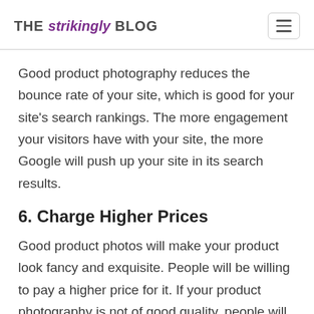THE strikingly BLOG
Good product photography reduces the bounce rate of your site, which is good for your site's search rankings. The more engagement your visitors have with your site, the more Google will push up your site in its search results.
6. Charge Higher Prices
Good product photos will make your product look fancy and exquisite. People will be willing to pay a higher price for it. If your product photography is not of good quality, people will